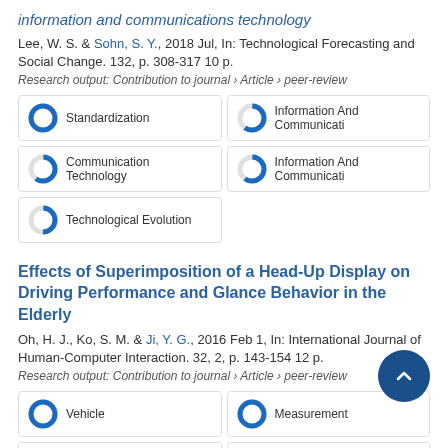information and communications technology
Lee, W. S. & Sohn, S. Y., 2018 Jul, In: Technological Forecasting and Social Change. 132, p. 308-317 10 p.
Research output: Contribution to journal › Article › peer-review
[Figure (infographic): Five keyword badge buttons with donut chart icons showing percentage fills: Standardization (100%), Information And Communicati (60%), Communication Technology (60%), Information And Communicati (60%), Technological Evolution (50%)]
Effects of Superimposition of a Head-Up Display on Driving Performance and Glance Behavior in the Elderly
Oh, H. J., Ko, S. M. & Ji, Y. G., 2016 Feb 1, In: International Journal of Human-Computer Interaction. 32, 2, p. 143-154 12 p.
Research output: Contribution to journal › Article › peer-review
[Figure (infographic): Four keyword badge buttons with donut chart icons: Vehicle (100%), Measurement (100%), Real Estate Sector (100%), Age Groups (100%)]